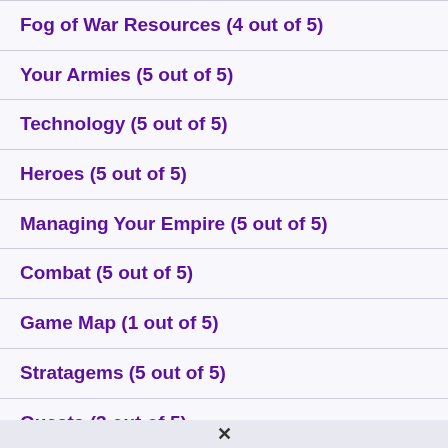Fog of War Resources (4 out of 5)
Your Armies (5 out of 5)
Technology (5 out of 5)
Heroes (5 out of 5)
Managing Your Empire (5 out of 5)
Combat (5 out of 5)
Game Map (1 out of 5)
Stratagems (5 out of 5)
Quests (3 out of 5)
Game Shop